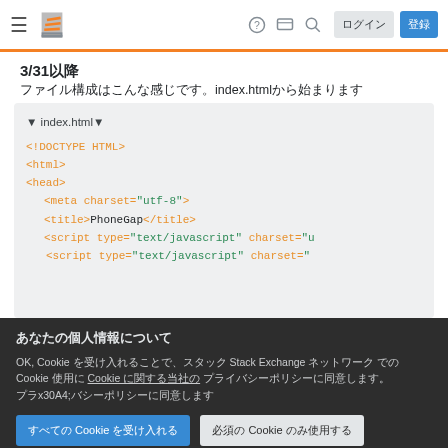Stack Overflow navigation bar with logo, icons, login/signup buttons
3/31以降
ファイル構成はこんな感じです。index.htmlから始まります
▼ index.html▼
<!DOCTYPE HTML>
<html>
<head>
    <meta charset="utf-8">
    <title>PhoneGap</title>
    <script type="text/javascript" charset="u
    <script type="text/javascript" charset="
あなたの個人情報について
OK, Cookie を受け入れることで、スタック Stack Exchange ネットワーク での Cookie 使用に Cookie に関する当社の プライバシーポリシーに同意します。
すべての Cookie を受け入れる　　必須の Cookie のみ使用する
function fail(error) {